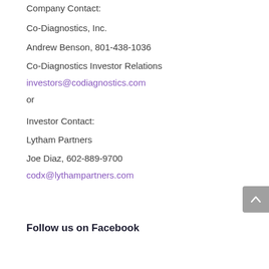Company Contact:
Co-Diagnostics, Inc.
Andrew Benson, 801-438-1036
Co-Diagnostics Investor Relations
investors@codiagnostics.com
or
Investor Contact:
Lytham Partners
Joe Diaz, 602-889-9700
codx@lythampartners.com
Follow us on Facebook